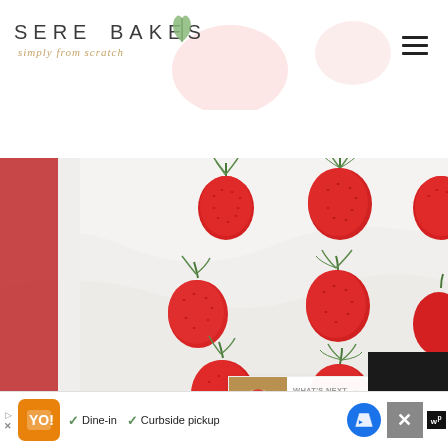[Figure (logo): Serena Bakes Simply From Scratch logo with leaf/botanical decorative element and stylized text]
[Figure (photo): Top-down photo of a white frosted sheet cake with multiple whole red strawberries with green stems arranged on top in rows, red decorative baking pan on left edge]
63
WHAT'S NEXT → Chocolate Strawberry...
[Figure (photo): Small thumbnail of a Chocolate Strawberry dessert]
Dine-in  Curbside pickup